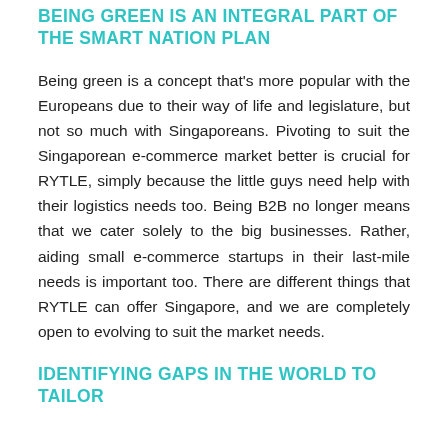BEING GREEN IS AN INTEGRAL PART OF THE SMART NATION PLAN
Being green is a concept that's more popular with the Europeans due to their way of life and legislature, but not so much with Singaporeans. Pivoting to suit the Singaporean e-commerce market better is crucial for RYTLE, simply because the little guys need help with their logistics needs too. Being B2B no longer means that we cater solely to the big businesses. Rather, aiding small e-commerce startups in their last-mile needs is important too. There are different things that RYTLE can offer Singapore, and we are completely open to evolving to suit the market needs.
IDENTIFYING GAPS IN THE WORLD TO TAILOR